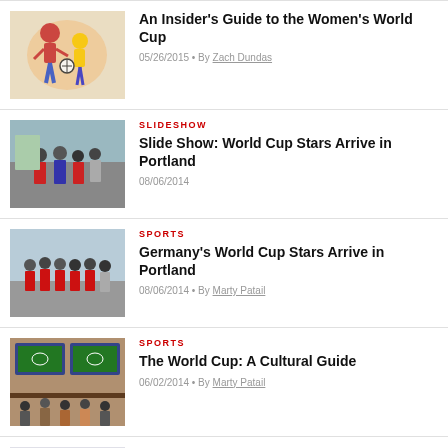[Figure (illustration): Illustrated colorful image of women soccer players in action]
An Insider's Guide to the Women's World Cup
05/26/2015 • By Zach Dundas
[Figure (photo): Photo of World Cup stars arriving, group of people outdoors]
SLIDESHOW
Slide Show: World Cup Stars Arrive in Portland
08/06/2014
[Figure (photo): Photo of Germany World Cup soccer team in red uniforms standing in a group]
SPORTS
Germany's World Cup Stars Arrive in Portland
08/06/2014 • By Marty Patail
[Figure (photo): Photo of people watching World Cup in a sports bar with TVs showing soccer]
SPORTS
The World Cup: A Cultural Guide
06/02/2014 • By Marty Patail
[Figure (photo): Partial photo at the bottom, partially cut off]
SPORTS